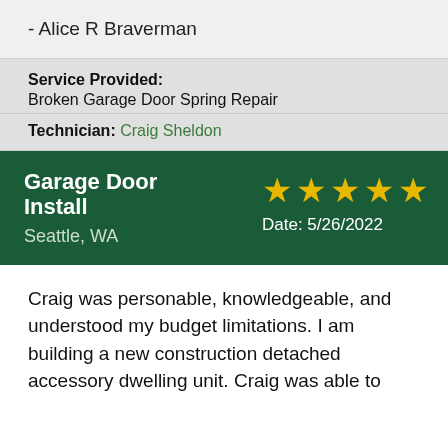- Alice R Braverman
Service Provided: Broken Garage Door Spring Repair
Technician: Craig Sheldon
[Figure (infographic): Review card with dark green header showing 'Garage Door Install, Seattle, WA' on the left, and five gold stars with 'Date: 5/26/2022' on the right]
Craig was personable, knowledgeable, and understood my budget limitations. I am building a new construction detached accessory dwelling unit. Craig was able to